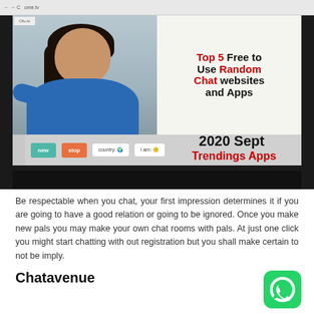[Figure (screenshot): Screenshot of a browser showing a webcam chat interface (ome.tv) on the left and a thumbnail/graphic on the right with text: 'Top 5 Free to Use Random Chat websites and Apps 2020 Sept Trendings Apps']
Be respectable when you chat, your first impression determines it if you are going to have a good relation or going to be ignored. Once you make new pals you may make your own chat rooms with pals. At just one click you might start chatting with out registration but you shall make certain to not be imply.
Chatavenue